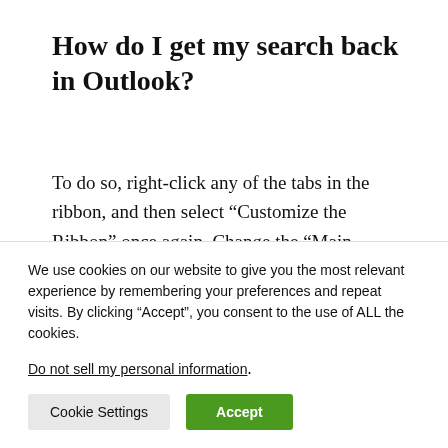How do I get my search back in Outlook?
To do so, right-click any of the tabs in the ribbon, and then select “Customize the Ribbon” once again. Change the “Main Tabs” dropdown to “All Tabs.”
We use cookies on our website to give you the most relevant experience by remembering your preferences and repeat visits. By clicking “Accept”, you consent to the use of ALL the cookies.
Do not sell my personal information.